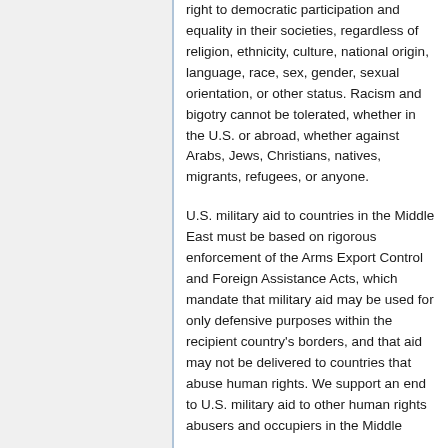right to democratic participation and equality in their societies, regardless of religion, ethnicity, culture, national origin, language, race, sex, gender, sexual orientation, or other status. Racism and bigotry cannot be tolerated, whether in the U.S. or abroad, whether against Arabs, Jews, Christians, natives, migrants, refugees, or anyone.
U.S. military aid to countries in the Middle East must be based on rigorous enforcement of the Arms Export Control and Foreign Assistance Acts, which mandate that military aid may be used for only defensive purposes within the recipient country's borders, and that aid may not be delivered to countries that abuse human rights. We support an end to U.S. military aid to other human rights abusers and occupiers in the Middle